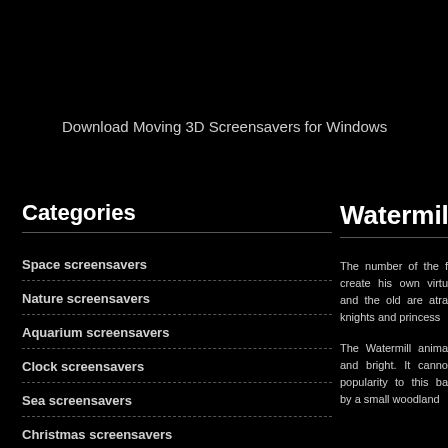Download Moving 3D Screensavers for Windows
Categories
Space screensavers
Nature screensavers
Aquarium screensavers
Clock screensavers
Sea screensavers
Christmas screensavers
Watermill 3D
The number of the f... create his own virtu... and the old are atra... knights and princess...
The Watermill anima... and bright. It canno... popularity to this ba... by a small woodland...